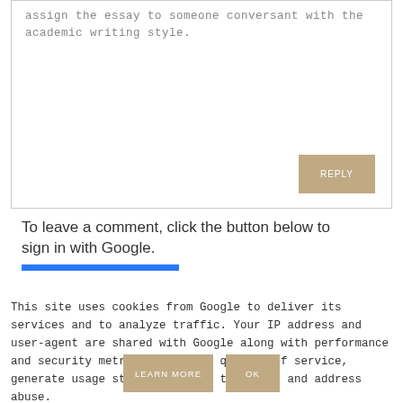assign the essay to someone conversant with the academic writing style.
REPLY
To leave a comment, click the button below to sign in with Google.
This site uses cookies from Google to deliver its services and to analyze traffic. Your IP address and user-agent are shared with Google along with performance and security metrics to ensure quality of service, generate usage statistics, and to detect and address abuse.
LEARN MORE
OK